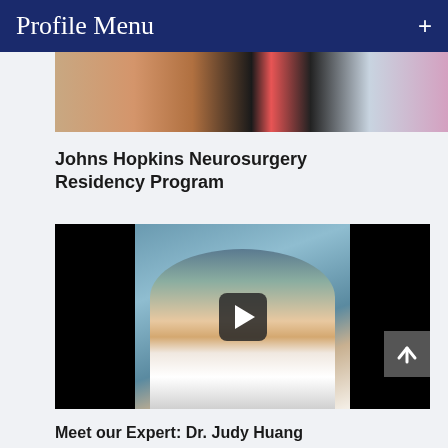Profile Menu
[Figure (photo): Cropped photo showing people at a table with food items including a red circular object and a dark grilling surface]
Johns Hopkins Neurosurgery Residency Program
[Figure (photo): Video thumbnail showing Dr. Judy Huang, a woman in a white lab coat, with a video play button overlay. Black bars on sides.]
Meet our Expert: Dr. Judy Huang